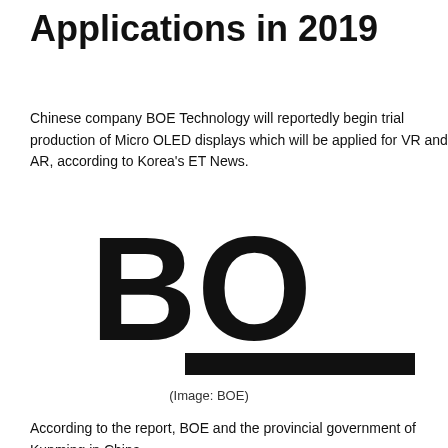Applications in 2019
Chinese company BOE Technology will reportedly begin trial production of Micro OLED displays which will be applied for VR and AR, according to Korea's ET News.
[Figure (logo): BOE company logo in large bold black letters with a black underline bar beneath]
(Image: BOE)
According to the report, BOE and the provincial government of Kunming in China